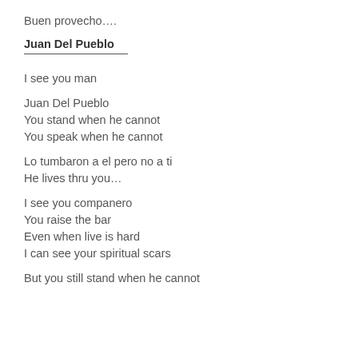Buen provecho….
Juan Del Pueblo
I see you man
Juan Del Pueblo
You stand when he cannot
You speak when he cannot
Lo tumbaron a el pero no a ti
He lives thru you…
I see you companero
You raise the bar
Even when live is hard
I can see your spiritual scars
But you still stand when he cannot